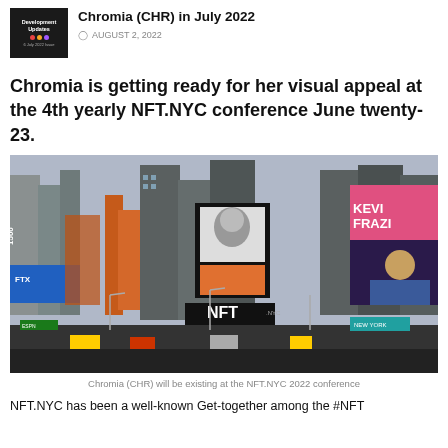Chromia (CHR) in July 2022
AUGUST 2, 2022
Chromia is getting ready for her visual appeal at the 4th yearly NFT.NYC conference June twenty-23.
[Figure (photo): Times Square New York City street scene with NFT.NYC conference billboards and advertisements on buildings including NFT branding and Kevin Frazier advertisement]
Chromia (CHR) will be existing at the NFT.NYC 2022 conference
NFT.NYC has been a well-known Get-together among the #NFT